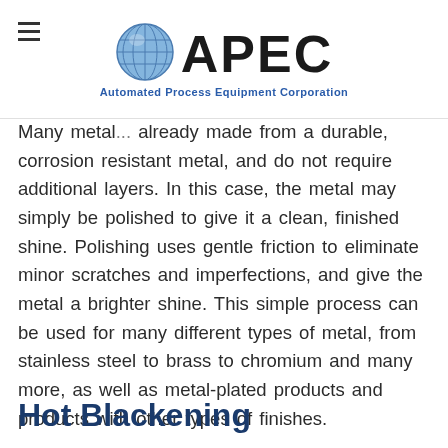APEC — Automated Process Equipment Corporation
Many metal... already made from a durable, corrosion resistant metal, and do not require additional layers. In this case, the metal may simply be polished to give it a clean, finished shine. Polishing uses gentle friction to eliminate minor scratches and imperfections, and give the metal a brighter shine. This simple process can be used for many different types of metal, from stainless steel to brass to chromium and many more, as well as metal-plated products and products with other types of finishes.
Hot Blackening